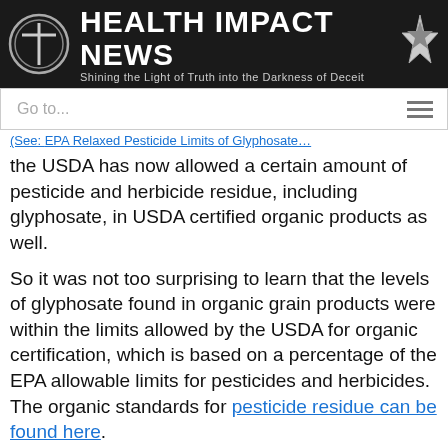[Figure (logo): Health Impact News banner logo with circular cross icon on left, star icon on right, title text 'HEALTH IMPACT NEWS' and subtitle 'Shining the Light of Truth into the Darkness of Deceit' on dark background]
Go to...
the USDA has now allowed a certain amount of pesticide and herbicide residue, including glyphosate, in USDA certified organic products as well.
So it was not too surprising to learn that the levels of glyphosate found in organic grain products were within the limits allowed by the USDA for organic certification, which is based on a percentage of the EPA allowable limits for pesticides and herbicides. The organic standards for pesticide residue can be found here.
The EPA establishes the maximum allowed levels of pesticides, or EPA tolerances, which may be present on foods. Although most EPA-registered pesticides are prohibited in organic production, there can